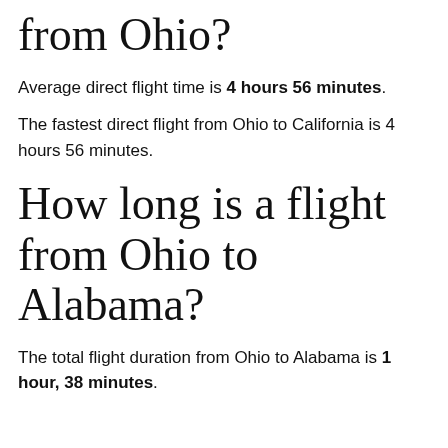from Ohio?
Average direct flight time is 4 hours 56 minutes.
The fastest direct flight from Ohio to California is 4 hours 56 minutes.
How long is a flight from Ohio to Alabama?
The total flight duration from Ohio to Alabama is 1 hour, 38 minutes.